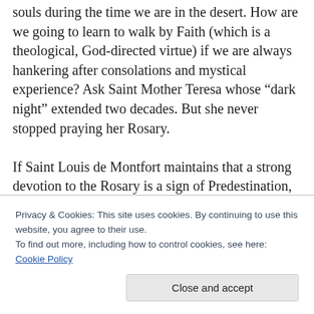Sometimes God does His best purifying work in our souls during the time we are in the desert. How are we going to learn to walk by Faith (which is a theological, God-directed virtue) if we are always hankering after consolations and mystical experience? Ask Saint Mother Teresa whose “dark night” extended two decades. But she never stopped praying her Rosary.

If Saint Louis de Montfort maintains that a strong devotion to the Rosary is a sign of Predestination, consider it a strong delusion if someone should persuade you to slack off on the Rosary. The devil makes saying the Rosary a special object
Privacy & Cookies: This site uses cookies. By continuing to use this website, you agree to their use.
To find out more, including how to control cookies, see here: Cookie Policy
Close and accept